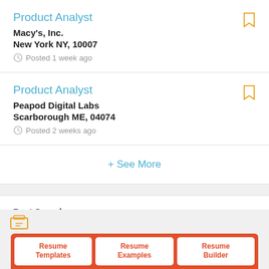Product Analyst
Macy's, Inc.
New York NY, 10007
Posted 1 week ago
Product Analyst
Peapod Digital Labs
Scarborough ME, 04074
Posted 2 weeks ago
+ See More
Past Searches
Product Analyst,Big Lake
Resume Templates | Resume Examples | Resume Builder